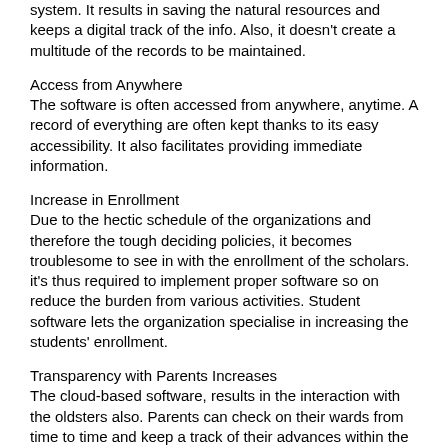system. It results in saving the natural resources and keeps a digital track of the info. Also, it doesn't create a multitude of the records to be maintained.
Access from Anywhere
The software is often accessed from anywhere, anytime. A record of everything are often kept thanks to its easy accessibility. It also facilitates providing immediate information.
Increase in Enrollment
Due to the hectic schedule of the organizations and therefore the tough deciding policies, it becomes troublesome to see in with the enrollment of the scholars. it's thus required to implement proper software so on reduce the burden from various activities. Student software lets the organization specialise in increasing the students' enrollment.
Transparency with Parents Increases
The cloud-based software, results in the interaction with the oldsters also. Parents can check on their wards from time to time and keep a track of their advances within the academic fields. This results in the transparency between the oldsters and therefore the wards.